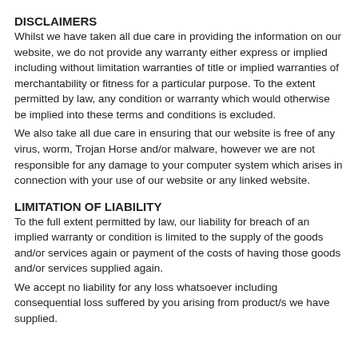DISCLAIMERS
Whilst we have taken all due care in providing the information on our website, we do not provide any warranty either express or implied including without limitation warranties of title or implied warranties of merchantability or fitness for a particular purpose. To the extent permitted by law, any condition or warranty which would otherwise be implied into these terms and conditions is excluded.
We also take all due care in ensuring that our website is free of any virus, worm, Trojan Horse and/or malware, however we are not responsible for any damage to your computer system which arises in connection with your use of our website or any linked website.
LIMITATION OF LIABILITY
To the full extent permitted by law, our liability for breach of an implied warranty or condition is limited to the supply of the goods and/or services again or payment of the costs of having those goods and/or services supplied again.
We accept no liability for any loss whatsoever including consequential loss suffered by you arising from product/s we have supplied.